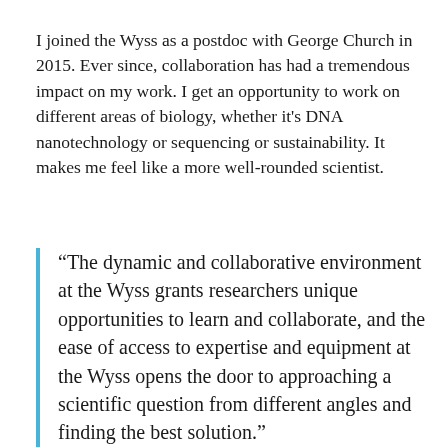I joined the Wyss as a postdoc with George Church in 2015. Ever since, collaboration has had a tremendous impact on my work. I get an opportunity to work on different areas of biology, whether it's DNA nanotechnology or sequencing or sustainability. It makes me feel like a more well-rounded scientist.
“The dynamic and collaborative environment at the Wyss grants researchers unique opportunities to learn and collaborate, and the ease of access to expertise and equipment at the Wyss opens the door to approaching a scientific question from different angles and finding the best solution.”